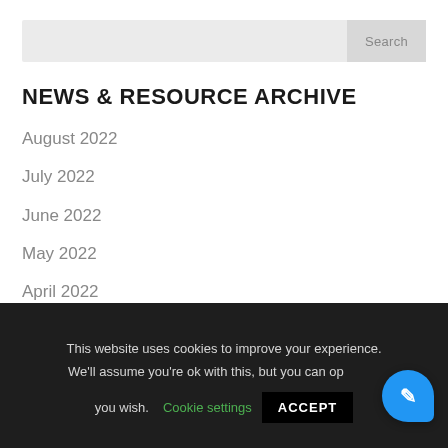Search
NEWS & RESOURCE ARCHIVE
August 2022
July 2022
June 2022
May 2022
April 2022
This website uses cookies to improve your experience. We'll assume you're ok with this, but you can opt-out if you wish. Cookie settings ACCEPT